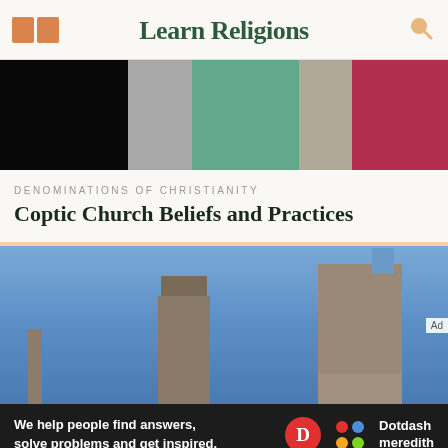Learn Religions
[Figure (photo): Photo of people in colorful clothing including white, teal, and red garments against a dark background]
DENOMINATIONS OF CHRISTIANITY
Coptic Church Beliefs and Practices
[Figure (photo): Photo of ancient stone ruins with towers against a blue sky, appears to be ruins of a Coptic or early Christian site]
Ad
We help people find answers, solve problems and get inspired. Dotdash meredith